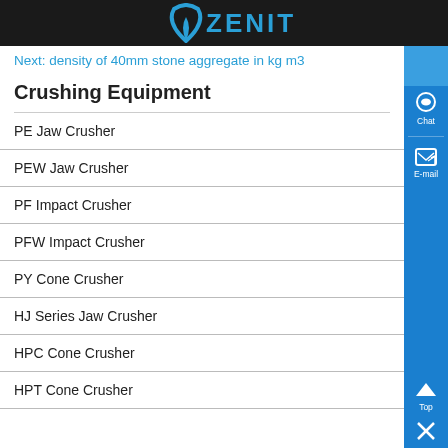ZENIT
Next: density of 40mm stone aggregate in kg m3
Crushing Equipment
PE Jaw Crusher
PEW Jaw Crusher
PF Impact Crusher
PFW Impact Crusher
PY Cone Crusher
HJ Series Jaw Crusher
HPC Cone Crusher
HPT Cone Crusher